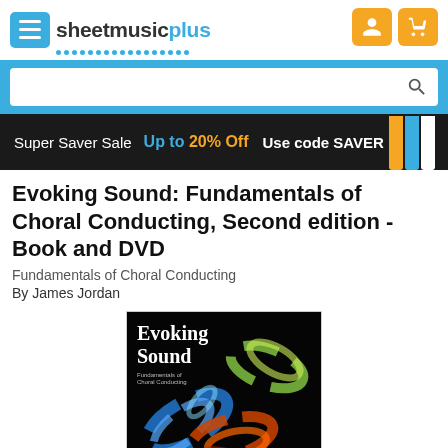[Figure (logo): Sheet Music Plus logo with hamburger menu icon, blue color scheme, and orange user/cart icons]
[Figure (screenshot): Search bar with blue background and white search input field with magnifying glass icon]
[Figure (infographic): Super Saver Sale banner: dark background, white text 'Super Saver Sale', blue text 'Up to', orange text '20% Off', white bold text 'Use code SAVER', piano image on right]
Evoking Sound: Fundamentals of Choral Conducting, Second edition - Book and DVD
Fundamentals of Choral Conducting
By James Jordan
[Figure (photo): Book cover of 'Evoking Sound: Fundamentals of Choral Conducting' by James Jordan, black background with colorful smoke/swirl design in blue, green, orange, and red]